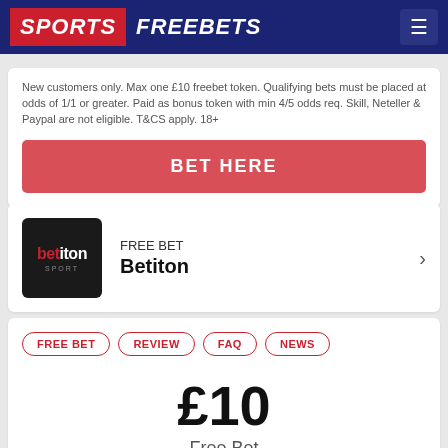[Figure (logo): Sports Freebets website header logo with red SPORTS and blue FREEBETS text on navy background with hamburger menu icon]
New customers only. Max one £10 freebet token. Qualifying bets must be placed at odds of 1/1 or greater. Paid as bonus token with min 4/5 odds req. Skill, Neteller & Paypal are not eligible. T&CS apply. 18+
BET HERE
[Figure (logo): Betiton Sport logo - black square with betiton text in white and red]
FREE BET
Betiton
FREE BET
REVIEW
FAQ
NEWS
£10
Free Bet